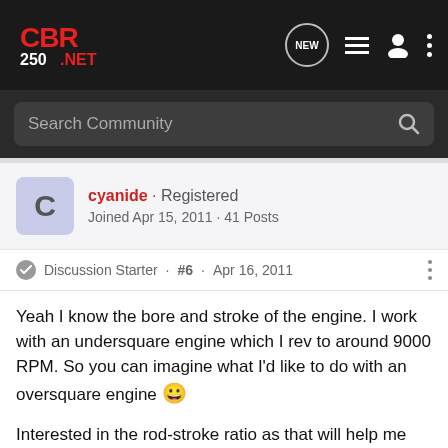[Figure (logo): CBR250.NET logo in red and white text on dark background]
Search Community
cyanide · Registered
Joined Apr 15, 2011 · 41 Posts
Discussion Starter · #6 · Apr 16, 2011
Yeah I know the bore and stroke of the engine. I work with an undersquare engine which I rev to around 9000 RPM. So you can imagine what I'd like to do with an oversquare engine 😀
Interested in the rod-stroke ratio as that will help me calculate a lot of things on my simulator where I design cam profiles, exhaust lengths, etc. You are talking about the bore x stroke 😉
The length of the rod / stroke gives you the rod-stroke ratio